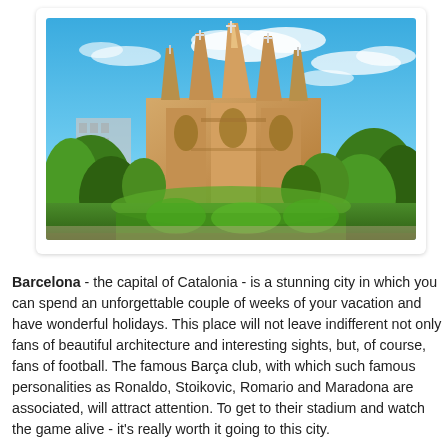[Figure (photo): Photograph of the Sagrada Família basilica in Barcelona, Spain. The ornate Gothic-style spires rise against a bright blue sky with white clouds. Green trees and lush vegetation surround the base of the cathedral. A white apartment building is visible on the left side.]
Barcelona - the capital of Catalonia - is a stunning city in which you can spend an unforgettable couple of weeks of your vacation and have wonderful holidays. This place will not leave indifferent not only fans of beautiful architecture and interesting sights, but, of course, fans of football. The famous Barça club, with which such famous personalities as Ronaldo, Stoikovic, Romario and Maradona are associated, will attract attention. To get to their stadium and watch the game alive - it's really worth it going to this city.